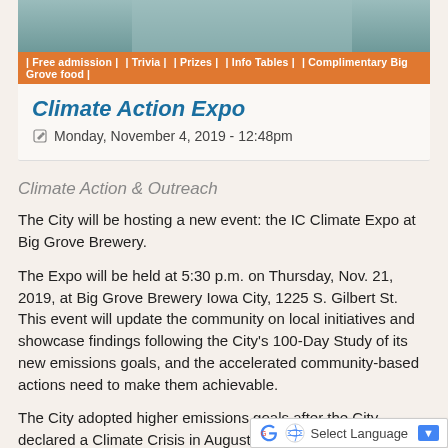[Figure (photo): Top image of Climate Action Expo event with orange banner bar showing: Free admission | Trivia | Prizes | Info Tables | Complimentary Big Grove food]
Climate Action Expo
Monday, November 4, 2019 - 12:48pm
Climate Action & Outreach
The City will be hosting a new event: the IC Climate Expo at Big Grove Brewery.
The Expo will be held at 5:30 p.m. on Thursday, Nov. 21, 2019, at Big Grove Brewery Iowa City, 1225 S. Gilbert St. This event will update the community on local initiatives and showcase findings following the City's 100-Day Study of its new emissions goals, and the accelerated community-based actions need to make them achievable.
The City adopted higher emissions goals after the City declared a Climate Crisis in August. The new carbon emissions goals are a 45% reducti…